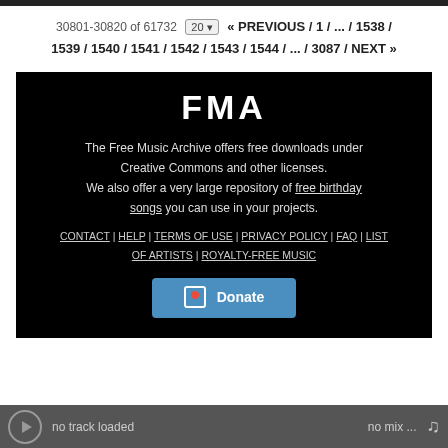30801-30820 of 61732  20  « PREVIOUS / 1 / ... / 1538 / 1539 / 1540 / 1541 / 1542 / 1543 / 1544 / ... / 3087 / NEXT »
[Figure (screenshot): FMA (Free Music Archive) footer section on black background with logo, description text, navigation links, and a Donate button]
no track loaded   no mix ...